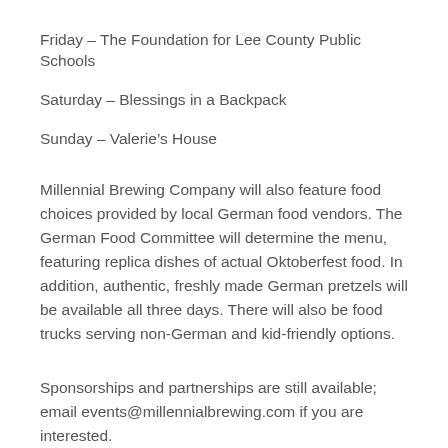Friday – The Foundation for Lee County Public Schools
Saturday – Blessings in a Backpack
Sunday – Valerie's House
Millennial Brewing Company will also feature food choices provided by local German food vendors. The German Food Committee will determine the menu, featuring replica dishes of actual Oktoberfest food. In addition, authentic, freshly made German pretzels will be available all three days. There will also be food trucks serving non-German and kid-friendly options.
Sponsorships and partnerships are still available; email events@millennialbrewing.com if you are interested.